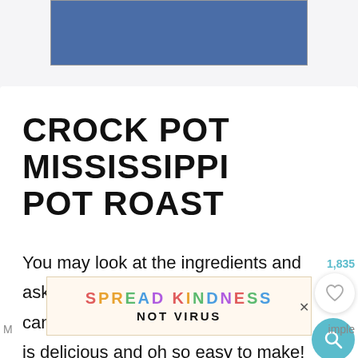[Figure (other): Blue rectangular banner advertisement at top of page]
CROCK POT MISSISSIPPI POT ROAST
You may look at the ingredients and ask yourself how that combination can taste good.  It is surprising, but it is delicious and oh so easy to make!
[Figure (other): Spread Kindness Not Virus advertisement banner with colorful letters and a close X button]